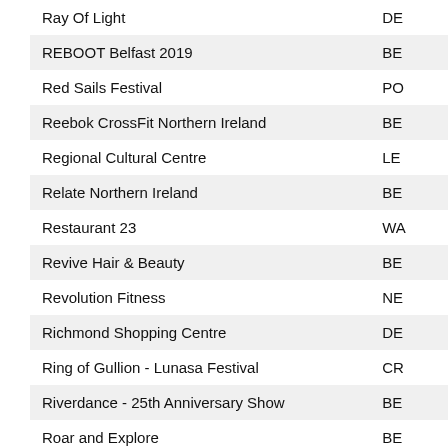| Name | Code |
| --- | --- |
| Ray Of Light | DE |
| REBOOT Belfast 2019 | BE |
| Red Sails Festival | PO |
| Reebok CrossFit Northern Ireland | BE |
| Regional Cultural Centre | LE |
| Relate Northern Ireland | BE |
| Restaurant 23 | WA |
| Revive Hair & Beauty | BE |
| Revolution Fitness | NE |
| Richmond Shopping Centre | DE |
| Ring of Gullion - Lunasa Festival | CR |
| Riverdance - 25th Anniversary Show | BE |
| Roar and Explore | BE |
| Rocking Chair Bar | DE |
| Rockmount Golf Club | BE |
| Roddy Doyle - Belfast | BE |
| Roddy Doyle - Cork | CO |
| Roddy Doyle - Derry | DE |